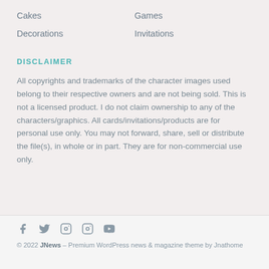Cakes
Games
Decorations
Invitations
DISCLAIMER
All copyrights and trademarks of the character images used belong to their respective owners and are not being sold. This is not a licensed product. I do not claim ownership to any of the characters/graphics. All cards/invitations/products are for personal use only. You may not forward, share, sell or distribute the file(s), in whole or in part. They are for non-commercial use only.
© 2022 JNews - Premium WordPress news & magazine theme by Jnathome